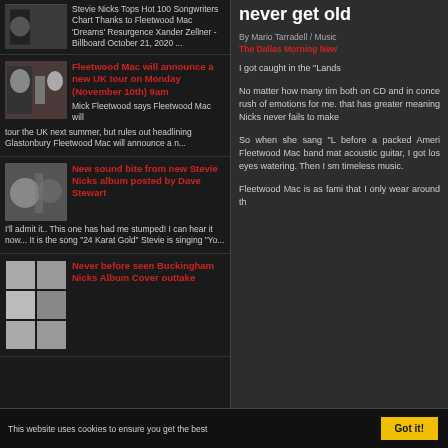Stevie Nicks Tops Hot 100 Songwriters Chart Thanks to Fleetwood Mac 'Dreams' Resurgence Xander Zellner - Billboard October 21, 2020 ...
Fleetwood Mac will announce a new UK tour on Monday (November 10th) 9am
Mick Fleetwood says Fleetwood Mac will tour the UK next summer, but rules out headlining Glastonbury Fleetwood Mac will announce a n...
New sound bite from new Stevie Nicks album posted by Dave Stewart
I'll admit it.. This one has had me stumped! I can hear it now... It is the song "24 Karat Gold" Stevie is singing "Yo...
Never before seen Buckingham Nicks Album Cover outtake
never get old
By Mario Tarradell / Music
The Dallas Morning New
I got caught in the "Lands
No matter how many tim both on CD and in conce rush of emotions for me. that has greater meaning Nicks never fails to make
So when she sang "L before a packed Ameri Fleetwood Mac band mat acoustic guitar, I got los eyes watering. Then I sm timeless music.
Fleetwood Mac is as fami that I only wear around th
This website uses cookies to ensure you get the best